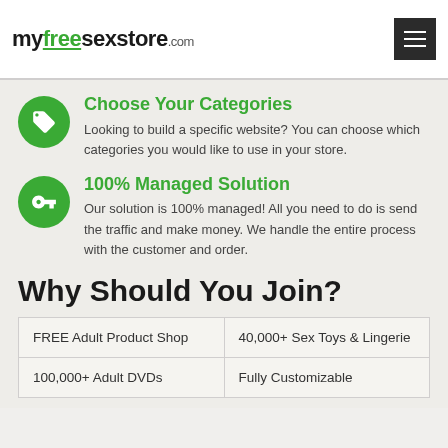myfreesexstore.com
Choose Your Categories
Looking to build a specific website? You can choose which categories you would like to use in your store.
100% Managed Solution
Our solution is 100% managed! All you need to do is send the traffic and make money. We handle the entire process with the customer and order.
Why Should You Join?
| FREE Adult Product Shop | 40,000+ Sex Toys & Lingerie |
| 100,000+ Adult DVDs | Fully Customizable |